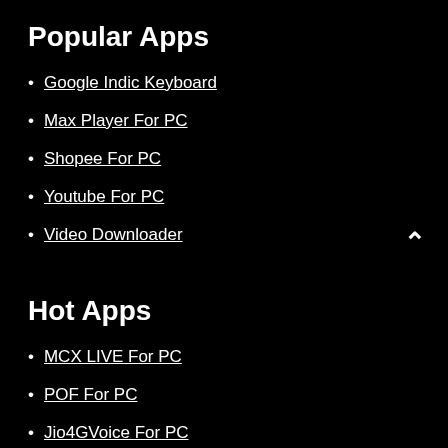Popular Apps
Google Indic Keyboard
Max Player For PC
Shopee For PC
Youtube For PC
Video Downloader
Hot Apps
MCX LIVE For PC
POF For PC
Jio4GVoice For PC
IP Pro For PC
Iflix For PC